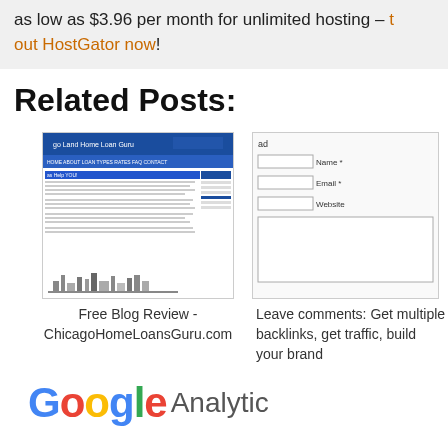as low as $3.96 per month for unlimited hosting – try out HostGator now!
Related Posts:
[Figure (screenshot): Screenshot of ChicagoHomeLoansGuru.com blog website with blue header and sidebar]
Free Blog Review - ChicagoHomeLoansGuru.com
[Figure (screenshot): Screenshot of a web form with Name, Email, Website fields and message area]
Leave comments: Get multiple backlinks, get traffic, build your brand
[Figure (logo): Google Analytics logo - partial, showing 'Google Analytic']